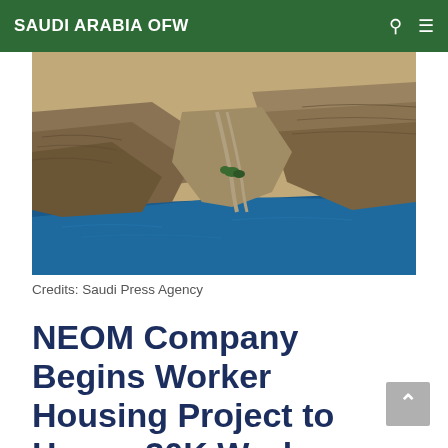SAUDI ARABIA OFW
[Figure (photo): Aerial view of rocky desert mountains meeting a deep blue coastal inlet, with a winding road through the gorge. Landscape typical of NEOM region, Saudi Arabia.]
Credits: Saudi Press Agency
NEOM Company Begins Worker Housing Project to House 30K Workers